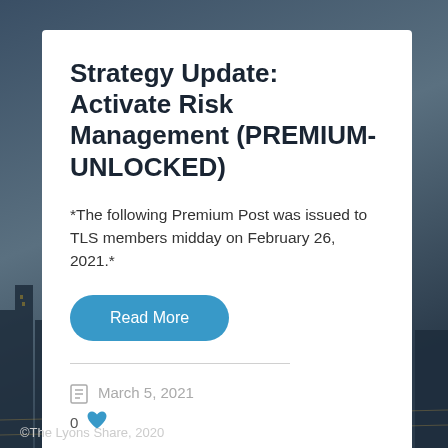[Figure (photo): Dark blue urban cityscape background with buildings and streets at dusk/night]
Strategy Update: Activate Risk Management (PREMIUM-UNLOCKED)
*The following Premium Post was issued to TLS members midday on February 26, 2021.*
Read More
March 5, 2021
0
©The Lyons Share, 2020